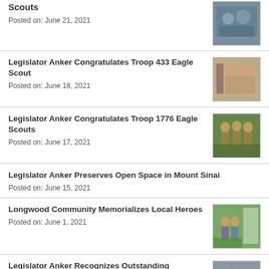Scouts
Posted on: June 21, 2021
Legislator Anker Congratulates Troop 433 Eagle Scout
Posted on: June 18, 2021
Legislator Anker Congratulates Troop 1776 Eagle Scouts
Posted on: June 17, 2021
Legislator Anker Preserves Open Space in Mount Sinai
Posted on: June 15, 2021
Longwood Community Memorializes Local Heroes
Posted on: June 1, 2021
Legislator Anker Recognizes Outstanding Shoreham-Wading River Students